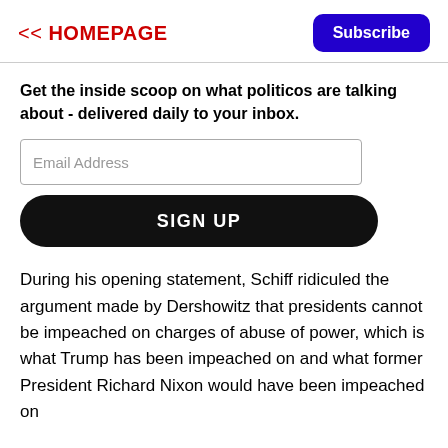<< HOMEPAGE
Subscribe
Get the inside scoop on what politicos are talking about - delivered daily to your inbox.
Email Address
SIGN UP
During his opening statement, Schiff ridiculed the argument made by Dershowitz that presidents cannot be impeached on charges of abuse of power, which is what Trump has been impeached on and what former President Richard Nixon would have been impeached on